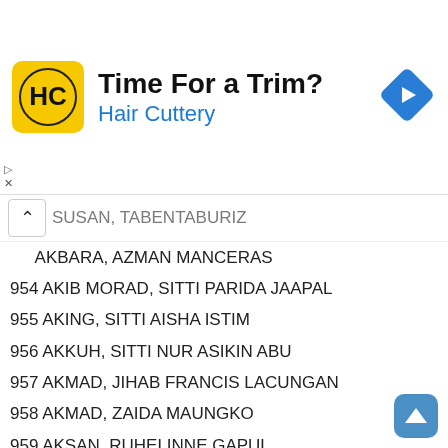[Figure (infographic): Hair Cuttery advertisement banner with logo, text 'Time For a Trim?' and 'Hair Cuttery', and a blue navigation arrow icon]
SUSAN, TABENTABURIZ (partial, truncated)
AKBARA, AZMAN MANCERAS
954 AKIB MORAD, SITTI PARIDA JAAPAL
955 AKING, SITTI AISHA ISTIM
956 AKKUH, SITTI NUR ASIKIN ABU
957 AKMAD, JIHAB FRANCIS LACUNGAN
958 AKMAD, ZAIDA MAUNGKO
959 AKSAN, RUHELINNE GAPUL
960 ALA, UZZEL GRACE SIENES
961 ALA-AN, CAROLENA EFREN
962 ALAB-AB, KELVIN MARK VIDAD
963 ALABA, EDISON PAGULAYAN
964 ALABA, HESSEN EARL
965 ALABA, ROLLY JOHN BALANGITAO
966 ALABADO, AIVY JOY ARANETA
967 ALABAN, PHILIP ROBERT CAOYONAN
968 ALABAT, MARIANNE OCON